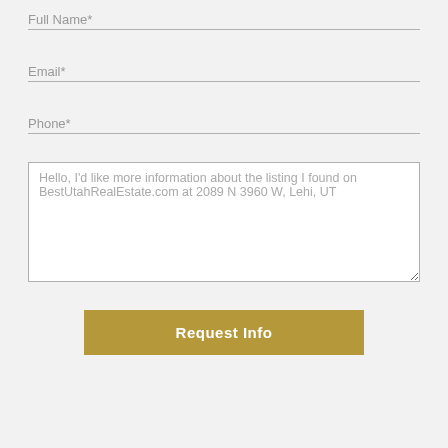Full Name*
Email*
Phone*
Hello, I'd like more information about the listing I found on BestUtahRealEstate.com at 2089 N 3960 W, Lehi, UT
Request Info